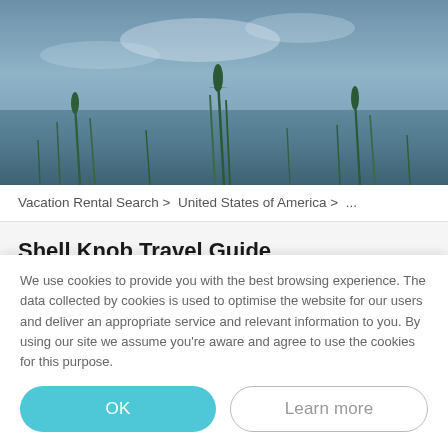[Figure (photo): Aerial or lakeside nature photo showing a calm blue-grey lake or sky with green reeds and plants in the foreground, dimly lit with a misty atmosphere.]
Vacation Rental Search > United States of America > ...
Shell Knob Travel Guide
The small Ozark town, Shell Knob, Missouri, is a buzzing lake resort and home to many young families, retired folks, and those with vacation homes.
We use cookies to provide you with the best browsing experience. The data collected by cookies is used to optimise the website for our users and deliver an appropriate service and relevant information to you. By using our site we assume you're aware and agree to use the cookies for this purpose.